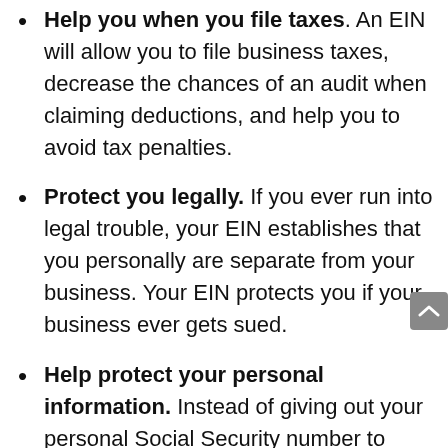Help you when you file taxes. An EIN will allow you to file business taxes, decrease the chances of an audit when claiming deductions, and help you to avoid tax penalties.
Protect you legally. If you ever run into legal trouble, your EIN establishes that you personally are separate from your business. Your EIN protects you if your business ever gets sued.
Help protect your personal information. Instead of giving out your personal Social Security number to vendors and clients, you can just give out your EIN. So your personal information will be kept private and safe, making it much less likely you'll experience identity theft. Business identity theft does happen, but it's much less common than personal or consumer